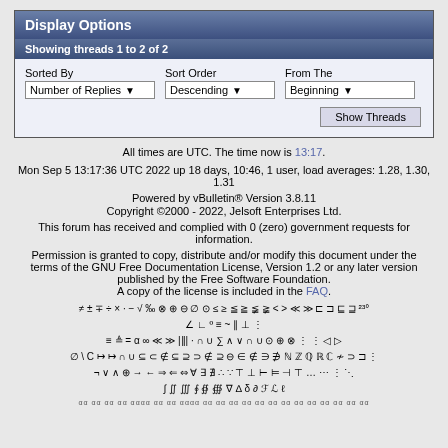Display Options
Showing threads 1 to 2 of 2
Sorted By: Number of Replies | Sort Order: Descending | From The: Beginning
Show Threads
All times are UTC. The time now is 13:17.
Mon Sep 5 13:17:36 UTC 2022 up 18 days, 10:46, 1 user, load averages: 1.28, 1.30, 1.31
Powered by vBulletin® Version 3.8.11
Copyright ©2000 - 2022, Jelsoft Enterprises Ltd.
This forum has received and complied with 0 (zero) government requests for information.
Permission is granted to copy, distribute and/or modify this document under the terms of the GNU Free Documentation License, Version 1.2 or any later version published by the Free Software Foundation.
A copy of the license is included in the FAQ.
≠ ± ∓ ÷ × · − √ ‰ ⊗ ⊕ ⊖ ∅ ⊙ ≤ ≥ ≦ ≧ ≨ ≩ < > ≪ ≫ ⊏ ⊐ ⊑ ⊒ ²³°
∠ ∟ º ≡ ~ ∥ ⊥ ⋮
≡ ≜ = α ∞ ≪ ≫ |‖| · ∩ ∪ ∑ ∧ ∨ ∩ ∪ ⊙ ⊕ ⊗ ⋮ ⋮ ◁ ▷
∅ \ C ↦ ↦ ∩ ∪ ⊆ ⊂ ∉ ⊆ ⊇ ⊃ ∉ ⊇ ⊖ ∈ ∉ ∋ ∌ ℕ ℤ ℚ ℝ ℂ ≁ ⊃ ⊐ ⋮
¬ ∨ ∧ ⊕ → ← ⇒ ⇐ ⇔ ∀ ∃ ∄ ∴ ∵ ⊤ ⊥ ⊢ ⊨ ⊣ ⊤ … ⋯ ⋮ ⋱
∫ ∬ ∭ ∮ ∯ ∰ ∇ ∆ δ ∂ ℱ ℒ ℓ